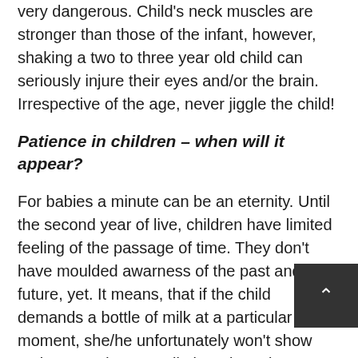very dangerous. Child's neck muscles are stronger than those of the infant, however, shaking a two to three year old child can seriously injure their eyes and/or the brain. Irrespective of the age, never jiggle the child!
Patience in children – when will it appear?
For babies a minute can be an eternity. Until the second year of live, children have limited feeling of the passage of time. They don't have moulded awarness of the past and the future, yet. It means, that if the child demands a bottle of milk at a particular moment, she/he unfortunately won't show patience and won't politely wait 5 minutes. Surely will